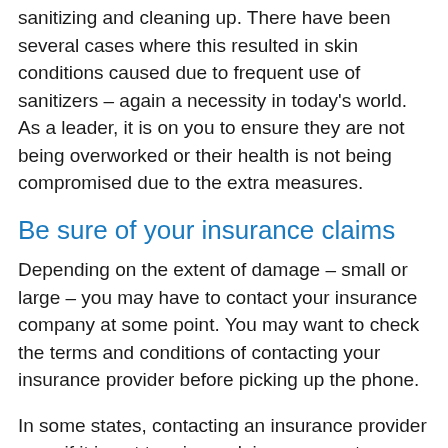sanitizing and cleaning up. There have been several cases where this resulted in skin conditions caused due to frequent use of sanitizers – again a necessity in today's world. As a leader, it is on you to ensure they are not being overworked or their health is not being compromised due to the extra measures.
Be sure of your insurance claims
Depending on the extent of damage – small or large – you may have to contact your insurance company at some point. You may want to check the terms and conditions of contacting your insurance provider before picking up the phone.
In some states, contacting an insurance provider even if it is not to raise a claim can count as a claim...